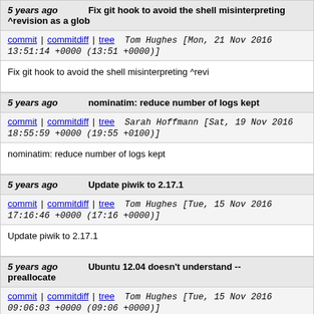5 years ago   Fix git hook to avoid the shell misinterpreting ^revision as a glob
commit | commitdiff | tree   Tom Hughes [Mon, 21 Nov 2016 13:51:14 +0000 (13:51 +0000)]
Fix git hook to avoid the shell misinterpreting ^revi
5 years ago   nominatim: reduce number of logs kept
commit | commitdiff | tree   Sarah Hoffmann [Sat, 19 Nov 2016 18:55:59 +0000 (19:55 +0100)]
nominatim: reduce number of logs kept
5 years ago   Update piwik to 2.17.1
commit | commitdiff | tree   Tom Hughes [Tue, 15 Nov 2016 17:16:46 +0000 (17:16 +0000)]
Update piwik to 2.17.1
5 years ago   Ubuntu 12.04 doesn't understand -- preallocate
commit | commitdiff | tree   Tom Hughes [Tue, 15 Nov 2016 09:06:03 +0000 (09:06 +0000)]